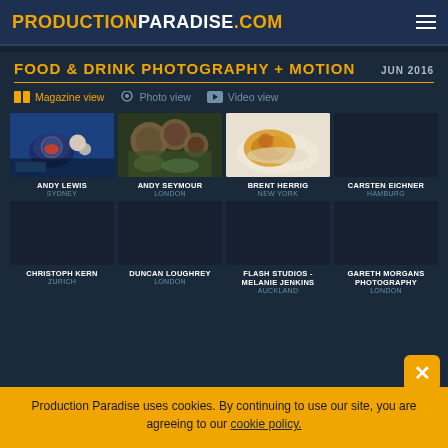PRODUCTIONPARADISE.COM
FOOD & DRINK PHOTOGRAPHY + MOTION  JUN 2016
Magazine view  Photo view  Video view
[Figure (photo): Food photography thumbnail - tea and seafood, Andy Lewis, Sydney]
[Figure (photo): Food photography thumbnail - artichokes, Andy Seymour, London]
[Figure (photo): Food photography thumbnail - plated dish with orange sauce, Brent Herrig, New York]
ANDY LEWIS
SYDNEY
ANDY SEYMOUR
LONDON
BRENT HERRIG
NEW YORK
CARSTEN EICHNER
HAMBURG
CHRISTOPH KERN
ZURICH
DUNCAN LOUGHREY
LONDON
FLASH STUDIOS -
MELANIE JENKINS
AUCKLAND
GARETH MORGANS PHOTOGRAPHY
LONDON
Production Paradise uses cookies. By continuing to use our site, you are agreeing to our cookie policy.